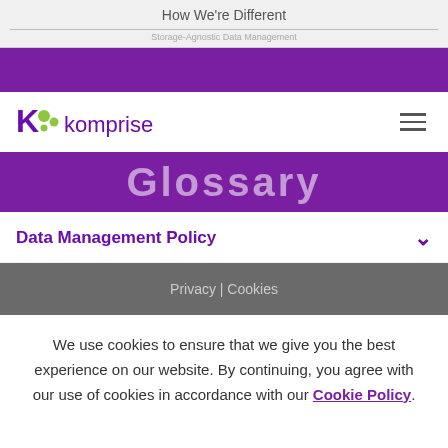How We're Different
Storage-Agnostic Data Management
[Figure (logo): Komprise logo - purple K with green dots and 'komprise' text]
Glossary
Data Management Policy
Privacy | Cookies
We use cookies to ensure that we give you the best experience on our website. By continuing, you agree with our use of cookies in accordance with our Cookie Policy.